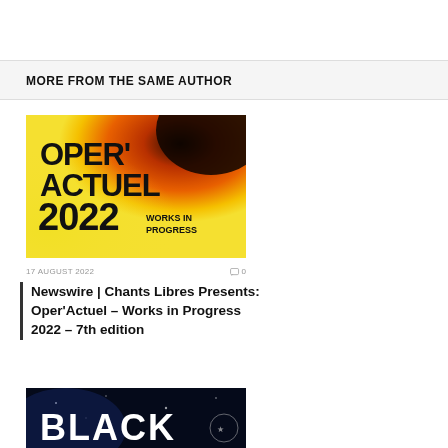MORE FROM THE SAME AUTHOR
[Figure (illustration): Oper'Actuel 2022 Works in Progress promotional image with yellow-orange gradient background and black text]
17 AUGUST 2022   ☺0
Newswire | Chants Libres Presents: Oper'Actuel – Works in Progress 2022 – 7th edition
[Figure (photo): Black image partially visible at bottom with text 'BLACK']